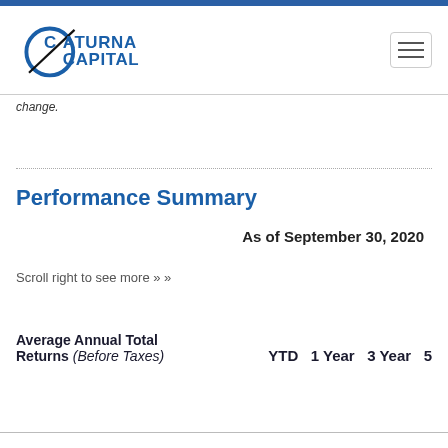Saturna Capital
change.
Performance Summary
As of September 30, 2020
Scroll right to see more » »
| Average Annual Total Returns (Before Taxes) | YTD | 1 Year | 3 Year | 5 |
| --- | --- | --- | --- | --- |